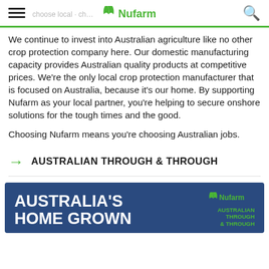Nufarm — choose local · choose…
We continue to invest into Australian agriculture like no other crop protection company here. Our domestic manufacturing capacity provides Australian quality products at competitive prices. We're the only local crop protection manufacturer that is focused on Australia, because it's our home. By supporting Nufarm as your local partner, you're helping to secure onshore solutions for the tough times and the good.
Choosing Nufarm means you're choosing Australian jobs.
AUSTRALIAN THROUGH & THROUGH
[Figure (illustration): Nufarm promotional banner: blue background with white bold text 'AUSTRALIA'S HOME GROWN', Nufarm logo in green, and 'AUSTRALIAN THROUGH & THROUGH' tagline in green text on right side.]